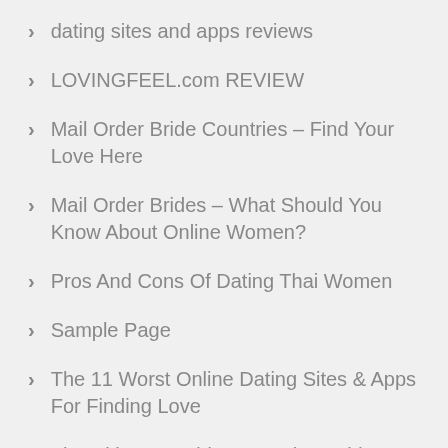dating sites and apps reviews
LOVINGFEEL.com REVIEW
Mail Order Bride Countries – Find Your Love Here
Mail Order Brides – What Should You Know About Online Women?
Pros And Cons Of Dating Thai Women
Sample Page
The 11 Worst Online Dating Sites & Apps For Finding Love
The Ultimate Guide To Getting Laid In Japan